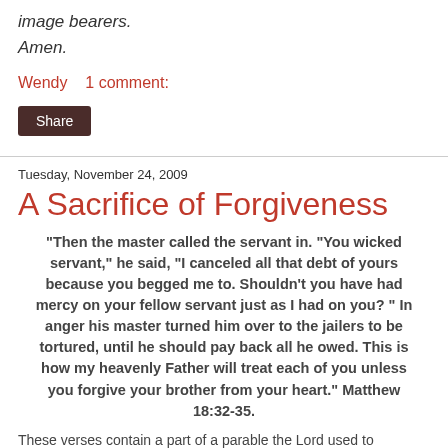image bearers.
Amen.
Wendy    1 comment:
Share
Tuesday, November 24, 2009
A Sacrifice of Forgiveness
"Then the master called the servant in. "You wicked servant," he said, "I canceled all that debt of yours because you begged me to. Shouldn't you have had mercy on your fellow servant just as I had on you? " In anger his master turned him over to the jailers to be tortured, until he should pay back all he owed. This is how my heavenly Father will treat each of you unless you forgive your brother from your heart." Matthew 18:32-35.
These verses contain a part of a parable the Lord used to